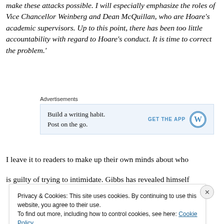make these attacks possible. I will especially emphasize the roles of Vice Chancellor Weinberg and Dean McQuillan, who are Hoare's academic supervisors. Up to this point, there has been too little accountability with regard to Hoare's conduct. It is time to correct the problem.'
[Figure (other): WordPress advertisement: 'Build a writing habit. Post on the go.' with GET THE APP button and WordPress logo]
I leave it to readers to make up their own minds about who is guilty of trying to intimidate. Gibbs has revealed himself
Privacy & Cookies: This site uses cookies. By continuing to use this website, you agree to their use. To find out more, including how to control cookies, see here: Cookie Policy
Close and accept